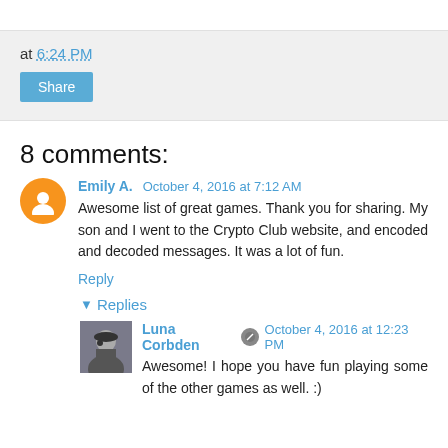at 6:24 PM
Share
8 comments:
Emily A. October 4, 2016 at 7:12 AM
Awesome list of great games. Thank you for sharing. My son and I went to the Crypto Club website, and encoded and decoded messages. It was a lot of fun.
Reply
▾ Replies
Luna Corbden October 4, 2016 at 12:23 PM
Awesome! I hope you have fun playing some of the other games as well. :)